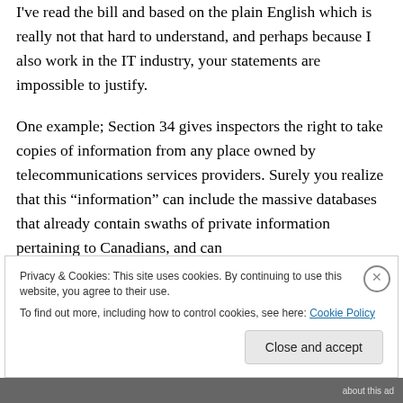I've read the bill and based on the plain English which is really not that hard to understand, and perhaps because I also work in the IT industry, your statements are impossible to justify.
One example; Section 34 gives inspectors the right to take copies of information from any place owned by telecommunications services providers. Surely you realize that this “information” can include the massive databases that already contain swaths of private information pertaining to Canadians, and can
Privacy & Cookies: This site uses cookies. By continuing to use this website, you agree to their use.
To find out more, including how to control cookies, see here: Cookie Policy